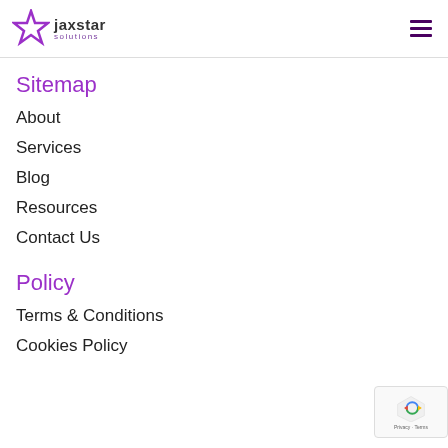jaxstar solutions
Sitemap
About
Services
Blog
Resources
Contact Us
Policy
Terms & Conditions
Cookies Policy